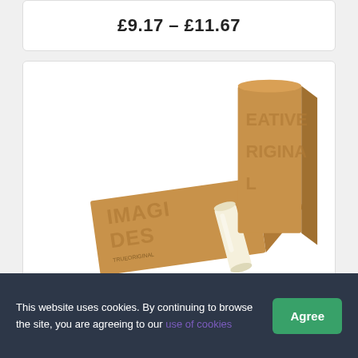£9.17 – £11.67
[Figure (photo): Kraft paper packaging with text 'IMAGINE CREATIVE DESIGN ORIGINAL' and a white/cream lip balm stick partially unwrapped from the packaging]
This website uses cookies. By continuing to browse the site, you are agreeing to our use of cookies  Agree